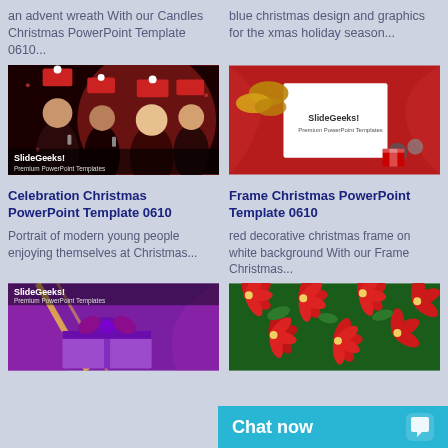an advent wreath With our Candles Christmas PowerPoint Template 0610...
blue christmas design and graphics for the xmas holiday season...
[Figure (photo): Christmas party celebration photo with people in Santa hats clinking glasses, SlideGeeks! Premium PowerPoint Templates branding]
[Figure (photo): Red decorative Christmas frame with gold pinecones and baubles, SlideGeeks! Premium PowerPoint Templates branding]
Celebration Christmas PowerPoint Template 0610
Frame Christmas PowerPoint Template 0610
Portrait of modern young people enjoying themselves at Christmas...
red decorative christmas frame on white background With our Frame Christmas...
[Figure (photo): Purple gift box with bow, SlideGeeks! Premium PowerPoint Templates branding]
[Figure (photo): Red poinsettia flowers Christmas decoration]
Chat now